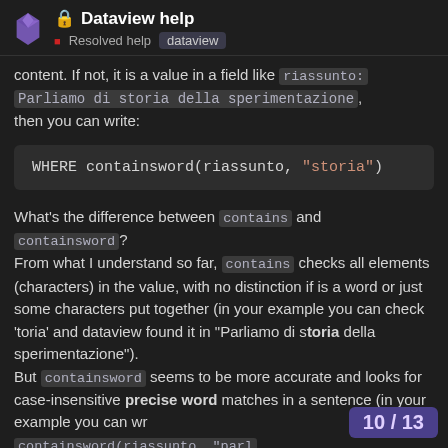Dataview help — Resolved help | dataview
content. If not, it is a value in a field like riassunto: Parliamo di storia della sperimentazione, then you can write:
WHERE containsword(riassunto, "storia")
What's the difference between contains and containsword?
From what I understand so far, contains checks all elements (characters) in the value, with no distinction if is a word or just some characters put together (in your example you can check 'toria' and dataview found it in "Parliamo di storia della sperimentazione").
But containsword seems to be more accurate and looks for case-insensitive precise word matches in a sentence (in your example you can wr containsword(riassunto, "parl
10 / 13